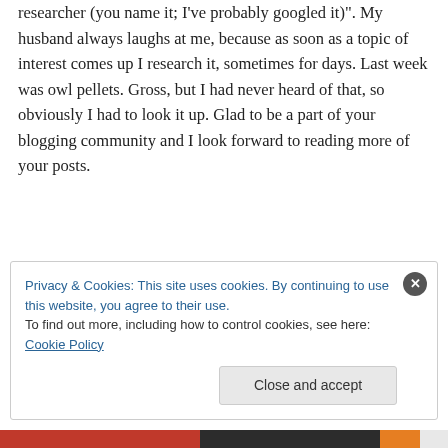researcher (you name it; I've probably googled it)". My husband always laughs at me, because as soon as a topic of interest comes up I research it, sometimes for days. Last week was owl pellets. Gross, but I had never heard of that, so obviously I had to look it up. Glad to be a part of your blogging community and I look forward to reading more of your posts.
↳ Reply
Privacy & Cookies: This site uses cookies. By continuing to use this website, you agree to their use.
To find out more, including how to control cookies, see here: Cookie Policy